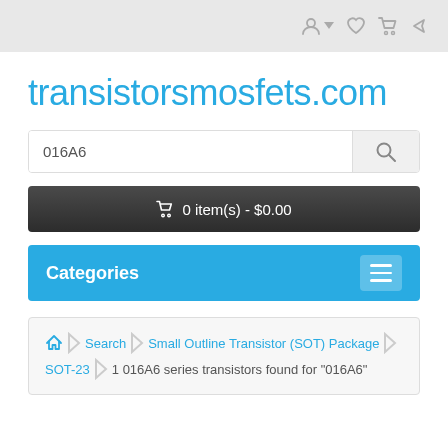transistorsmosfets.com header navigation with user, wishlist, cart, and share icons
transistorsmosfets.com
016A6 [search input]
0 item(s) - $0.00
Categories
Home > Search > Small Outline Transistor (SOT) Package SOT-23 > 1 016A6 series transistors found for "016A6"